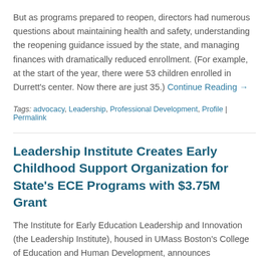But as programs prepared to reopen, directors had numerous questions about maintaining health and safety, understanding the reopening guidance issued by the state, and managing finances with dramatically reduced enrollment. (For example, at the start of the year, there were 53 children enrolled in Durrett's center. Now there are just 35.) Continue Reading →
Tags: advocacy, Leadership, Professional Development, Profile | Permalink
Leadership Institute Creates Early Childhood Support Organization for State's ECE Programs with $3.75M Grant
The Institute for Early Education Leadership and Innovation (the Leadership Institute), housed in UMass Boston's College of Education and Human Development, announces